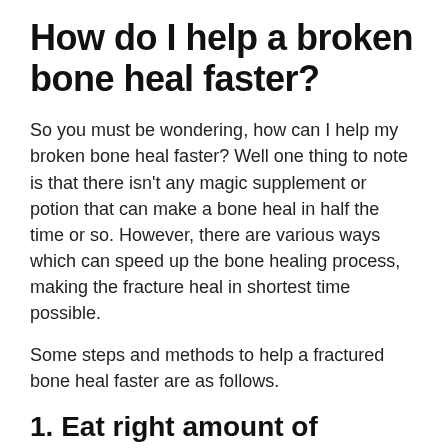How do I help a broken bone heal faster?
So you must be wondering, how can I help my broken bone heal faster? Well one thing to note is that there isn't any magic supplement or potion that can make a bone heal in half the time or so. However, there are various ways which can speed up the bone healing process, making the fracture heal in shortest time possible.
Some steps and methods to help a fractured bone heal faster are as follows.
1. Eat right amount of calories
Human body needs a lot of energy to repair broken bones. This might not seem obvious though. Some people tend to reduce their calorie and nutrient intake since they will be less active. This is...